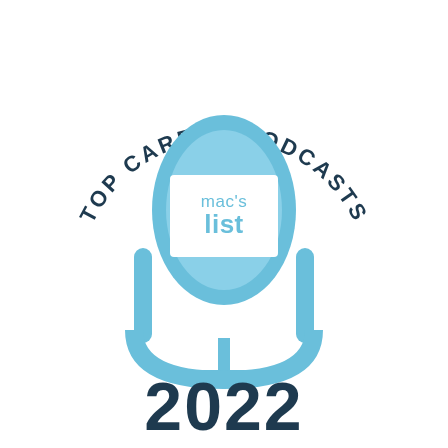[Figure (logo): Mac's List Top Career Podcasts 2022 badge featuring a microphone graphic with curved text 'TOP CAREER PODCASTS' arching over the top, a light blue microphone with a white square containing 'mac's list' text in the center, and '2022' in large dark navy text below]
2022